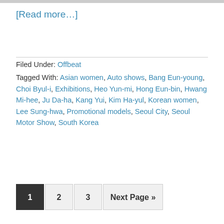[Figure (photo): Partial image strip at the top of the page]
[Read more…]
Filed Under: Offbeat
Tagged With: Asian women, Auto shows, Bang Eun-young, Choi Byul-i, Exhibitions, Heo Yun-mi, Hong Eun-bin, Hwang Mi-hee, Ju Da-ha, Kang Yui, Kim Ha-yul, Korean women, Lee Sung-hwa, Promotional models, Seoul City, Seoul Motor Show, South Korea
1 (current page)
2
3
Next Page »